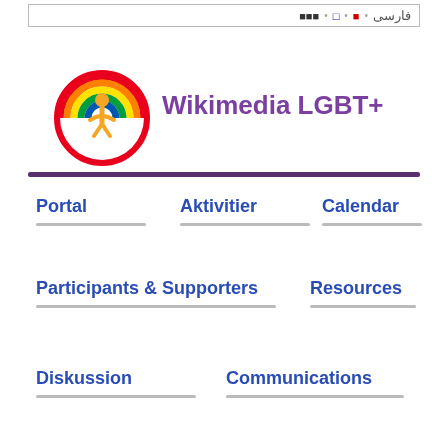فارسی • ■ • □ • ■■■
[Figure (logo): Wikimedia LGBT+ rainbow circular logo with human figure]
Wikimedia LGBT+
Portal
Aktivitier
Calendar
Participants & Supporters
Resources
Diskussion
Communications